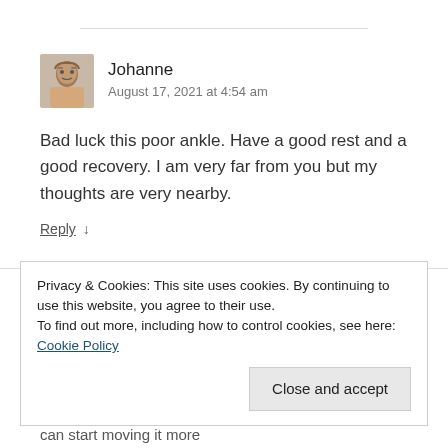[Figure (photo): Avatar photo of commenter Johanne — a woman with glasses and light hair]
Johanne
August 17, 2021 at 4:54 am
Bad luck this poor ankle. Have a good rest and a good recovery. I am very far from you but my thoughts are very nearby.
Reply ↓
Privacy & Cookies: This site uses cookies. By continuing to use this website, you agree to their use.
To find out more, including how to control cookies, see here: Cookie Policy
Close and accept
can start moving it more